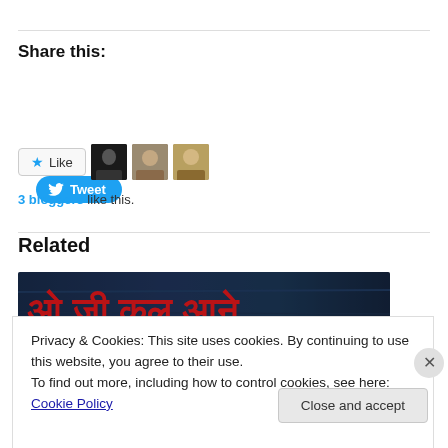Share this:
[Figure (other): Twitter Tweet button - blue rounded button with bird icon and 'Tweet' text]
[Figure (other): Like button with star icon and 3 blogger avatar thumbnails]
3 bloggers like this.
Related
[Figure (photo): Related article image with Hindi/Devanagari red text on dark blue stone background]
Privacy & Cookies: This site uses cookies. By continuing to use this website, you agree to their use.
To find out more, including how to control cookies, see here: Cookie Policy
Close and accept